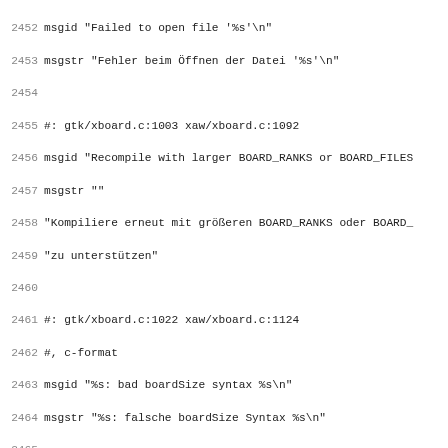Code listing lines 2452-2483 of a gettext PO file with German translations for xboard application error messages.